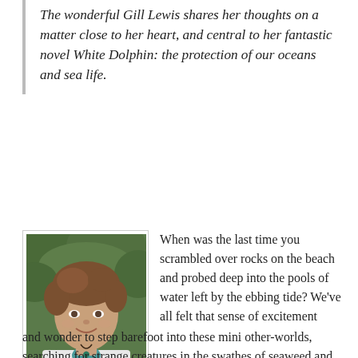The wonderful Gill Lewis shares her thoughts on a matter close to her heart, and central to her fantastic novel White Dolphin: the protection of our oceans and sea life.
[Figure (photo): Portrait photo of Gill Lewis, a smiling woman with short curly brown hair wearing a white jacket and a green heart-shaped pendant necklace, with green foliage in the background.]
When was the last time you scrambled over rocks on the beach and probed deep into the pools of water left by the ebbing tide? We've all felt that sense of excitement and wonder to step barefoot into these mini other-worlds, searching for strange creatures in the swathes of seaweed and beneath rocks and pebbles: transparent bodied shrimps,